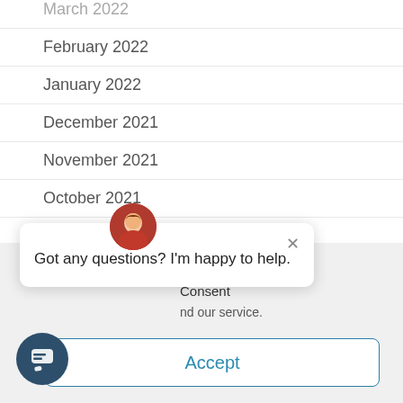March 2022
February 2022
January 2022
December 2021
November 2021
October 2021
September 2021
August 2021
July 2021
Got any questions? I'm happy to help.
Consent
nd our service.
Accept